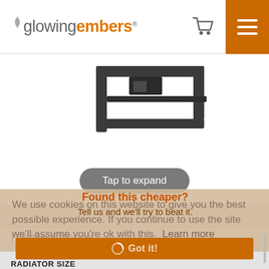glowing embers
[Figure (photo): Dark metal radiator bracket/guard product photo on white background]
Tap to expand
Found this cheaper?
Tell us and we'll try to beat it.
We use cookies on this website to give you the best possible experience. If you continue to use the site we'll assume you're ok with this.  Learn more
Got it!
Please Choose:
RADIATOR SIZE